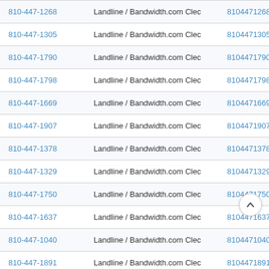| Phone | Type | Number | Action |
| --- | --- | --- | --- |
| 810-447-1268 | Landline / Bandwidth.com Clec | 8104471268 | View |
| 810-447-1305 | Landline / Bandwidth.com Clec | 8104471305 | View |
| 810-447-1790 | Landline / Bandwidth.com Clec | 8104471790 | View |
| 810-447-1798 | Landline / Bandwidth.com Clec | 8104471798 | View |
| 810-447-1669 | Landline / Bandwidth.com Clec | 8104471669 | View |
| 810-447-1907 | Landline / Bandwidth.com Clec | 8104471907 | View |
| 810-447-1378 | Landline / Bandwidth.com Clec | 8104471378 | View |
| 810-447-1329 | Landline / Bandwidth.com Clec | 8104471329 | View |
| 810-447-1750 | Landline / Bandwidth.com Clec | 8104471750 | View |
| 810-447-1637 | Landline / Bandwidth.com Clec | 8104471637 | View |
| 810-447-1040 | Landline / Bandwidth.com Clec | 8104471040 | View |
| 810-447-1891 | Landline / Bandwidth.com Clec | 8104471891 | View |
| 810-447-1452 | Landline / Bandwidth.com Clec | 8104471452 | View |
| 810-447-1820 | Landline / Bandwidth.com Clec | 8104471820 | View |
| 810-447-1896 | Landline / Bandwidth.com Clec | 8104471896 | View |
| 810-447-1387 | Landline / Bandwidth.com Clec | 8104471387 | View |
| 810-447-1181 | Landline / Bandwidth.com Clec | 8104471181 | View |
| 810-447-1969 | Landline / Bandwidth.com Clec | 8104471969 | View |